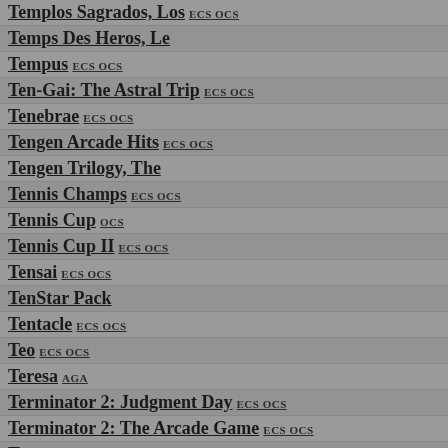Templos Sagrados, Los ECS OCS
Temps Des Heros, Le
Tempus ECS OCS
Ten-Gai: The Astral Trip ECS OCS
Tenebrae ECS OCS
Tengen Arcade Hits ECS OCS
Tengen Trilogy, The
Tennis Champs ECS OCS
Tennis Cup OCS
Tennis Cup II ECS OCS
Tensai ECS OCS
TenStar Pack
Tentacle ECS OCS
Teo ECS OCS
Teresa AGA
Terminator 2: Judgment Day ECS OCS
Terminator 2: The Arcade Game ECS OCS
Terramex OCS
Terran Envoy ECS OCS